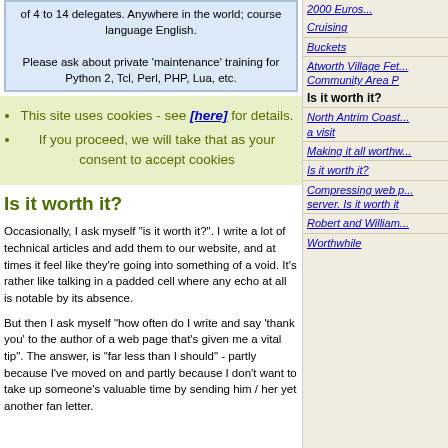of 4 to 14 delegates. Anywhere in the world; course language English.

Please ask about private 'maintenance' training for Python 2, Tcl, Perl, PHP, Lua, etc.
This site uses cookies - see [here] for details.
If you proceed, we will take that as your consent to accept cookies
Is it worth it?
Occasionally, I ask myself "is it worth it?". I write a lot of technical articles and add them to our website, and at times it feel like they're going into something of a void. It's rather like talking in a padded cell where any echo at all is notable by its absence.
But then I ask myself "how often do I write and say 'thank you' to the author of a web page that's given me a vital tip". The answer, is "far less than I should" - partly because I've moved on and partly because I don't want to take up someone's valuable time by sending him / her yet another fan letter.
2000 Euros
Cruising
Buckets
Atworth Village Fete Community Area P
Is it worth it?
North Antrim Coast a visit
Making it all worthw
Is it worth it?
Compressing web p server. Is it worth it
Robert and William
Worthwhile